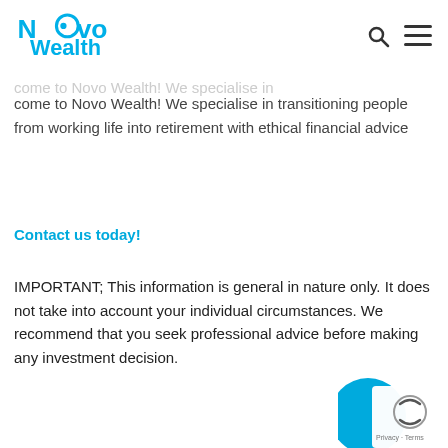Novo Wealth
come to Novo Wealth! We specialise in transitioning people from working life into retirement with ethical financial advice
Contact us today!
IMPORTANT; This information is general in nature only. It does not take into account your individual circumstances. We recommend that you seek professional advice before making any investment decision.